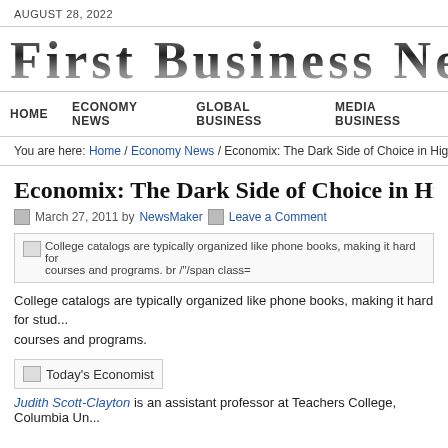AUGUST 28, 2022
[Figure (logo): First Business News masthead logo in large serif bold text]
HOME   ECONOMY NEWS   GLOBAL BUSINESS   MEDIA BUSINESS
You are here: Home / Economy News / Economix: The Dark Side of Choice in Higher Edu...
Economix: The Dark Side of Choice in Higher E...
March 27, 2011 by NewsMaker   Leave a Comment
[img] College catalogs are typically organized like phone books, making it hard for students to find courses and programs. br /"/span class=
College catalogs are typically organized like phone books, making it hard for stud... courses and programs.
[Figure (illustration): Today's Economist image placeholder]
Judith Scott-Clayton is an assistant professor at Teachers College, Columbia Un...